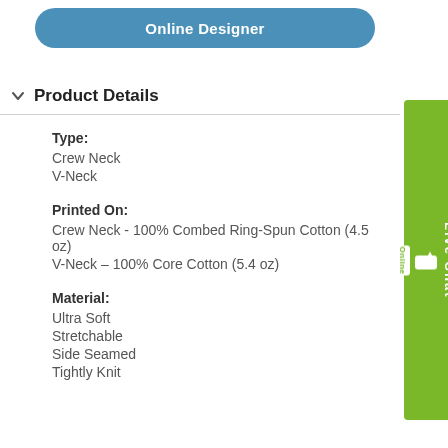Online Designer
Product Details
Type:
Crew Neck
V-Neck
Printed On:
Crew Neck - 100% Combed Ring-Spun Cotton (4.5 oz)
V-Neck – 100% Core Cotton (5.4 oz)
Material:
Ultra Soft
Stretchable
Side Seamed
Tightly Knit
[Figure (other): Live Chat Online button - vertical green sidebar widget]